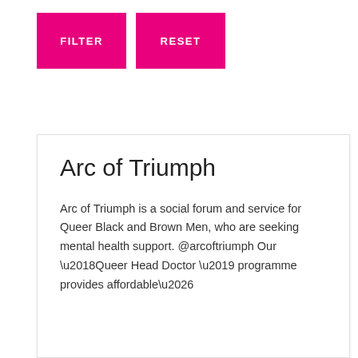[Figure (screenshot): Two pink buttons labeled FILTER and RESET]
Arc of Triumph
Arc of Triumph is a social forum and service for Queer Black and Brown Men, who are seeking mental health support. @arcoftriumph Our ‘Queer Head Doctor ’ programme provides affordable…